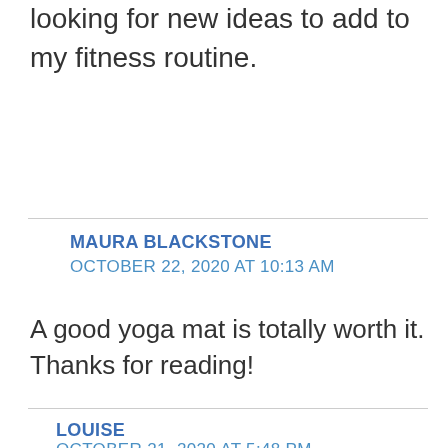looking for new ideas to add to my fitness routine.
MAURA BLACKSTONE
OCTOBER 22, 2020 AT 10:13 AM
A good yoga mat is totally worth it. Thanks for reading!
LOUISE
OCTOBER 21, 2020 AT 5:48 PM